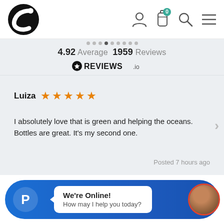[Figure (logo): Black C-shaped logo (Chilly's brand logo) in the top left of the header bar]
[Figure (screenshot): Header navigation icons: person/account icon, bottle/cart icon with badge showing 0, search/magnifying glass icon, hamburger menu icon]
4.92 Average 1959 Reviews
[Figure (logo): REVIEWS.io logo with star icon]
Luiza ★★★★★
I absolutely love that is green and helping the oceans. Bottles are great. It's my second one.
Posted 7 hours ago
[Figure (screenshot): Blue chat widget bar at bottom with PayPal P logo on left, white chat bubble saying We're Online! / How may I help you today?, and circular avatar photo with red/orange border on right]